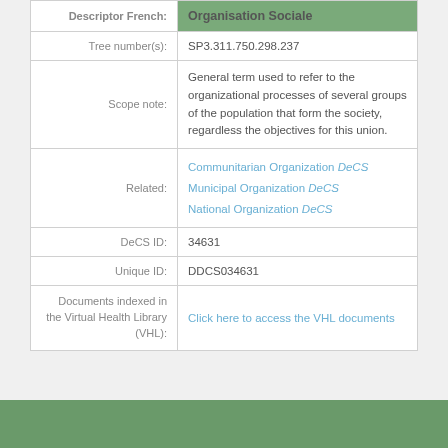| Label | Value |
| --- | --- |
| Descriptor French: | Organisation Sociale |
| Tree number(s): | SP3.311.750.298.237 |
| Scope note: | General term used to refer to the organizational processes of several groups of the population that form the society, regardless the objectives for this union. |
| Related: | Communitarian Organization DeCS
Municipal Organization DeCS
National Organization DeCS |
| DeCS ID: | 34631 |
| Unique ID: | DDCS034631 |
| Documents indexed in the Virtual Health Library (VHL): | Click here to access the VHL documents |